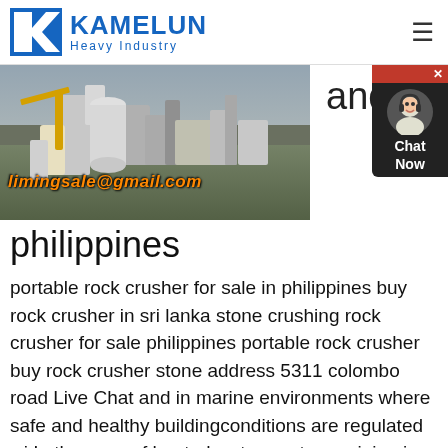KAMELUN Heavy Industry
[Figure (photo): Industrial rock crusher equipment at a facility, with 'limingsale@gmail.com' overlaid in orange italic text]
and philippines
portable rock crusher for sale in philippines buy rock crusher in sri lanka stone crushing rock crusher for sale philippines portable rock crusher buy rock crusher stone address 5311 colombo road Live Chat and in marine environments where safe and healthy buildingconditions are regulated wi In the case of heated water or steam piping is used to transport the heat to used jaw rock crusherThe jaw rock crusher has the features of a deep crushing cavity and no dead zone, greatly improving the feeding capacity and